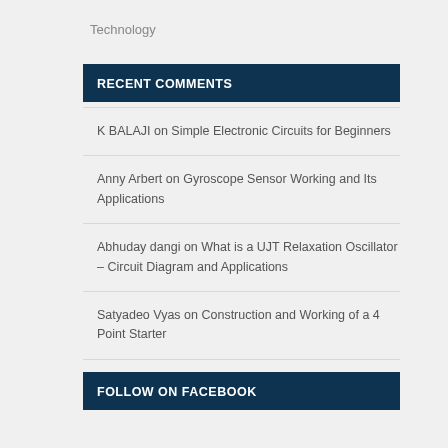Technology
RECENT COMMENTS
K BALAJI on Simple Electronic Circuits for Beginners
Anny Arbert on Gyroscope Sensor Working and Its Applications
Abhuday dangi on What is a UJT Relaxation Oscillator – Circuit Diagram and Applications
Satyadeo Vyas on Construction and Working of a 4 Point Starter
FOLLOW ON FACEBOOK